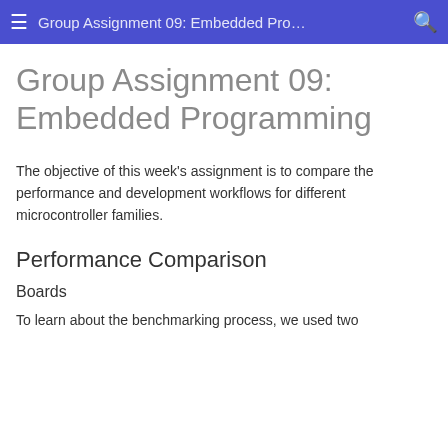Group Assignment 09: Embedded Pro…
Group Assignment 09: Embedded Programming
The objective of this week's assignment is to compare the performance and development workflows for different microcontroller families.
Performance Comparison
Boards
To learn about the benchmarking process, we used two